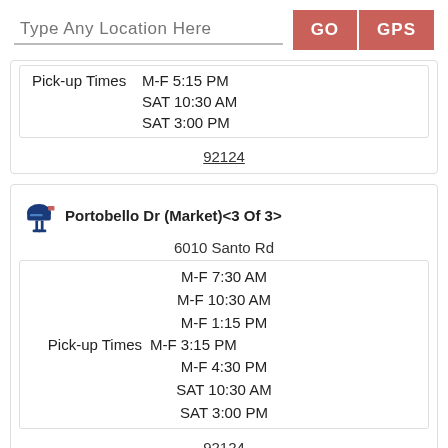Type Any Location Here
GO
GPS
Pick-up Times  M-F 5:15 PM
SAT 10:30 AM
SAT 3:00 PM
92124
Portobello Dr (Market)<3 Of 3>
6010 Santo Rd
M-F 7:30 AM
M-F 10:30 AM
M-F 1:15 PM
Pick-up Times M-F 3:15 PM
M-F 4:30 PM
SAT 10:30 AM
SAT 3:00 PM
92124